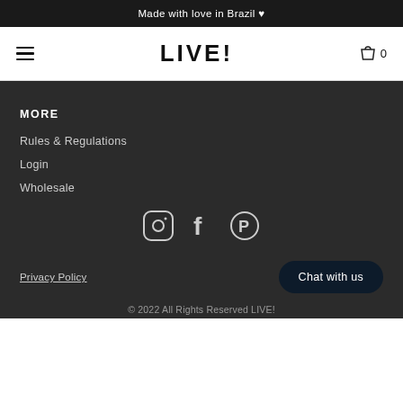Made with love in Brazil ♥
[Figure (logo): LIVE! brand logo with hamburger menu and cart icon 0]
MORE
Rules & Regulations
Login
Wholesale
[Figure (infographic): Social media icons: Instagram, Facebook, Pinterest]
Privacy Policy
Chat with us
© 2022 All Rights Reserved LIVE!